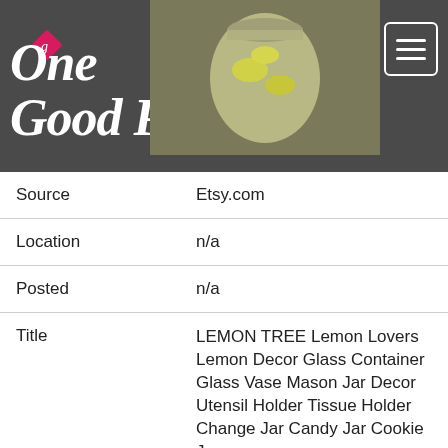[Figure (logo): OneGoodPick logo in white italic script on dark grey background, with a pink diamond icon, and a hamburger menu button top right. A product image of a mason jar with lemons is shown to the right of the logo.]
| Source | Etsy.com |
| Location | n/a |
| Posted | n/a |
| Title | LEMON TREE Lemon Lovers Lemon Decor Glass Container Glass Vase Mason Jar Decor Utensil Holder Tissue Holder Change Jar Candy Jar Cookie Jar |
| Price | $25.00 |
| Image |  |